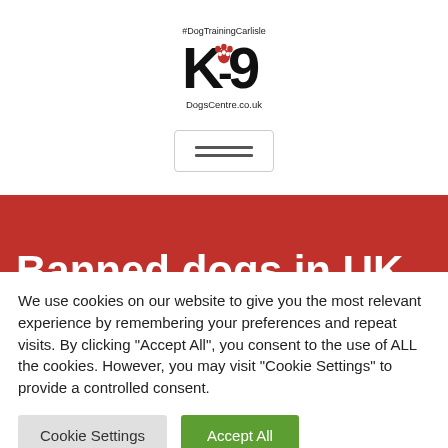[Figure (logo): K-9 DogsCentre.co.uk logo with paw print, hashtag #DogTrainingCarlisle above]
[Figure (other): Hamburger menu button (three horizontal lines)]
Banned dogs in UK
We use cookies on our website to give you the most relevant experience by remembering your preferences and repeat visits. By clicking "Accept All", you consent to the use of ALL the cookies. However, you may visit "Cookie Settings" to provide a controlled consent.
Cookie Settings | Accept All